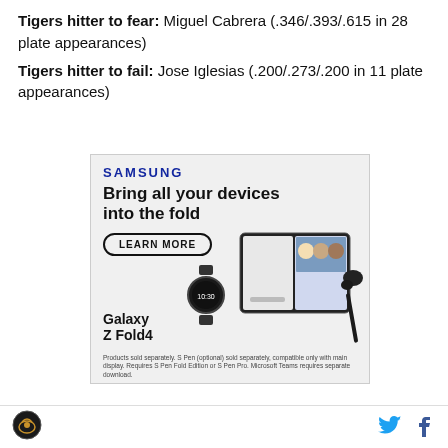Tigers hitter to fear: Miguel Cabrera (.346/.393/.615 in 28 plate appearances)
Tigers hitter to fail: Jose Iglesias (.200/.273/.200 in 11 plate appearances)
[Figure (infographic): Samsung advertisement: 'Bring all your devices into the fold' featuring Galaxy Z Fold4 with a LEARN MORE button, showing a smartwatch, foldable phone with video call on screen, and earbuds. Footnote about S Pen sold separately.]
Tigers logo icon; Twitter bird icon; Facebook f icon